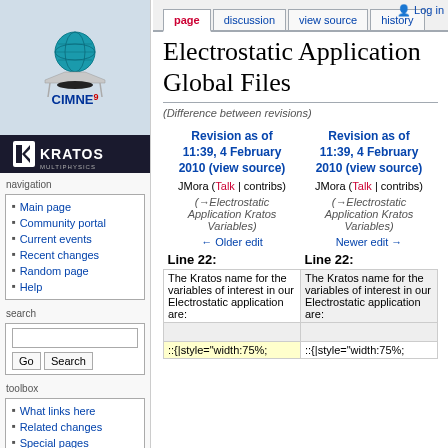[Figure (logo): CIMNE logo with globe graphic and Kratos Multiphysics banner]
navigation
Main page
Community portal
Current events
Recent changes
Random page
Help
search
toolbox
What links here
Related changes
Special pages
page | discussion | view source | history | Log in
Electrostatic Application Global Files
(Difference between revisions)
| Revision as of 11:39, 4 February 2010 (view source) | Revision as of 11:39, 4 February 2010 (view source) |
| --- | --- |
| JMora (Talk | contribs) | JMora (Talk | contribs) |
| (→Electrostatic Application Kratos Variables) | (→Electrostatic Application Kratos Variables) |
| ← Older edit | Newer edit → |
| Line 22: | Line 22: |
| The Kratos name for the variables of interest in our Electrostatic application are: | The Kratos name for the variables of interest in our Electrostatic application are: |
| ::{|style="width:75%; | ::{|style="width:75%; |